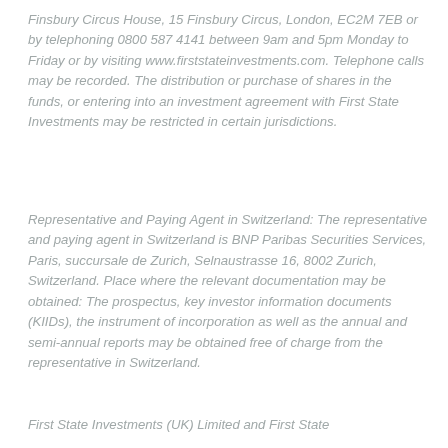Finsbury Circus House, 15 Finsbury Circus, London, EC2M 7EB or by telephoning 0800 587 4141 between 9am and 5pm Monday to Friday or by visiting www.firststateinvestments.com. Telephone calls may be recorded. The distribution or purchase of shares in the funds, or entering into an investment agreement with First State Investments may be restricted in certain jurisdictions.
Representative and Paying Agent in Switzerland: The representative and paying agent in Switzerland is BNP Paribas Securities Services, Paris, succursale de Zurich, Selnaustrasse 16, 8002 Zurich, Switzerland. Place where the relevant documentation may be obtained: The prospectus, key investor information documents (KIIDs), the instrument of incorporation as well as the annual and semi-annual reports may be obtained free of charge from the representative in Switzerland.
First State Investments (UK) Limited and First State